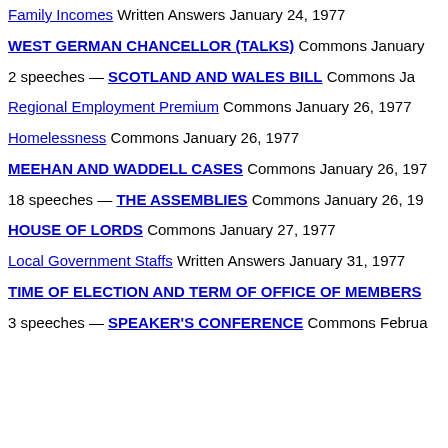Family Incomes Written Answers January 24, 1977
WEST GERMAN CHANCELLOR (TALKS) Commons January
2 speeches — SCOTLAND AND WALES BILL Commons Ja
Regional Employment Premium Commons January 26, 1977
Homelessness Commons January 26, 1977
MEEHAN AND WADDELL CASES Commons January 26, 197
18 speeches — THE ASSEMBLIES Commons January 26, 19
HOUSE OF LORDS Commons January 27, 1977
Local Government Staffs Written Answers January 31, 1977
TIME OF ELECTION AND TERM OF OFFICE OF MEMBERS
3 speeches — SPEAKER'S CONFERENCE Commons Februa